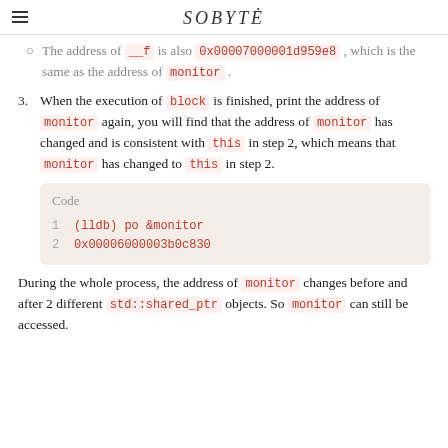SOBYTE
The address of __f is also 0x00007000001d959e8, which is the same as the address of monitor.
When the execution of block is finished, print the address of monitor again, you will find that the address of monitor has changed and is consistent with this in step 2, which means that monitor has changed to this in step 2.
[Figure (screenshot): Code block showing: 1 (lldb) po &monitor  2 0x00006000003b0c830]
During the whole process, the address of monitor changes before and after 2 different std::shared_ptr objects. So monitor can still be accessed.